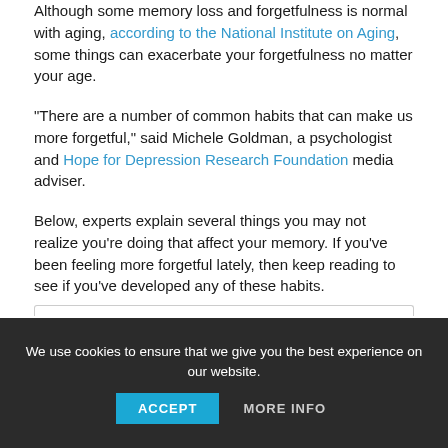Although some memory loss and forgetfulness is normal with aging, according to the National Institute on Aging, some things can exacerbate your forgetfulness no matter your age.
"There are a number of common habits that can make us more forgetful," said Michele Goldman, a psychologist and Hope for Depression Research Foundation media adviser.
Below, experts explain several things you may not realize you're doing that affect your memory. If you've been feeling more forgetful lately, then keep reading to see if you've developed any of these habits.
We use cookies to ensure that we give you the best experience on our website.